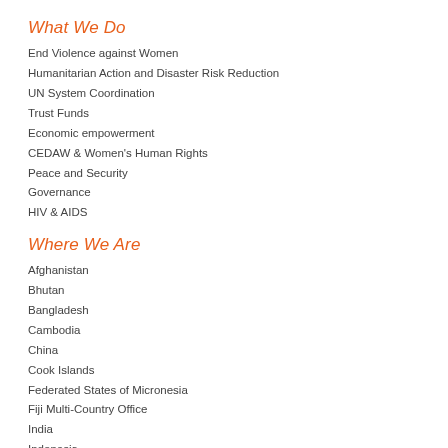What We Do
End Violence against Women
Humanitarian Action and Disaster Risk Reduction
UN System Coordination
Trust Funds
Economic empowerment
CEDAW & Women's Human Rights
Peace and Security
Governance
HIV & AIDS
Where We Are
Afghanistan
Bhutan
Bangladesh
Cambodia
China
Cook Islands
Federated States of Micronesia
Fiji Multi-Country Office
India
Indonesia
Kiribati